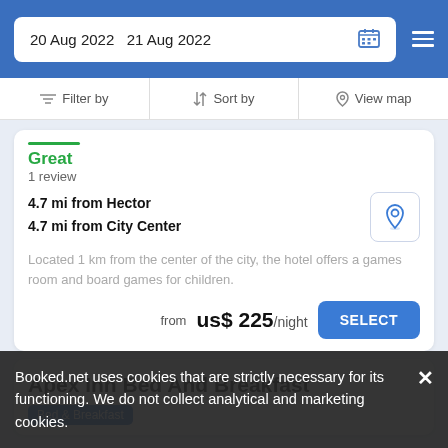20 Aug 2022  21 Aug 2022
Filter by  |  Sort by  |  View map
Great
1 review
4.7 mi from Hector
4.7 mi from City Center
Located 1 km from the center of the city, the hotel offers a games room and board games for children.
from  us$ 225/night  SELECT
Apex Inn Bed And Breakfast
Bed & Breakfast
Booked.net uses cookies that are strictly necessary for its functioning. We do not collect analytical and marketing cookies.